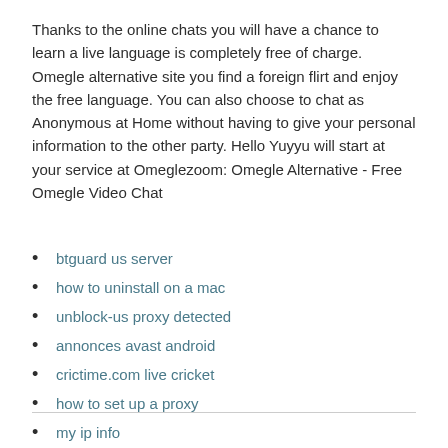Thanks to the online chats you will have a chance to learn a live language is completely free of charge. Omegle alternative site you find a foreign flirt and enjoy the free language. You can also choose to chat as Anonymous at Home without having to give your personal information to the other party. Hello Yuyyu will start at your service at Omeglezoom: Omegle Alternative - Free Omegle Video Chat
btguard us server
how to uninstall on a mac
unblock-us proxy detected
annonces avast android
crictime.com live cricket
how to set up a proxy
my ip info